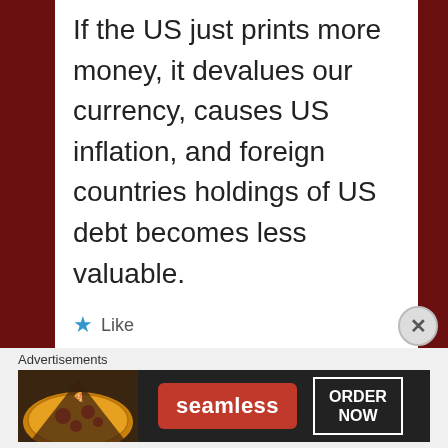If the US just prints more money, it devalues our currency, causes US inflation, and foreign countries holdings of US debt becomes less valuable.
★ Like
Reply
[Figure (other): Seamless food delivery advertisement banner showing pizza image on left, Seamless red logo button in center, and ORDER NOW button on right against dark background]